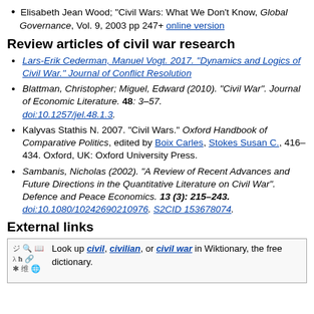Elisabeth Jean Wood; "Civil Wars: What We Don't Know, Global Governance, Vol. 9, 2003 pp 247+ online version
Review articles of civil war research
Lars-Erik Cederman, Manuel Vogt. 2017. "Dynamics and Logics of Civil War." Journal of Conflict Resolution
Blattman, Christopher; Miguel, Edward (2010). "Civil War". Journal of Economic Literature. 48: 3–57. doi:10.1257/jel.48.1.3.
Kalyvas Stathis N. 2007. "Civil Wars." Oxford Handbook of Comparative Politics, edited by Boix Carles, Stokes Susan C., 416–434. Oxford, UK: Oxford University Press.
Sambanis, Nicholas (2002). "A Review of Recent Advances and Future Directions in the Quantitative Literature on Civil War". Defence and Peace Economics. 13 (3): 215–243. doi:10.1080/10242690210976. S2CID 153678074.
External links
[Figure (other): Wiktionary icon with decorative script symbols]
Look up civil, civilian, or civil war in Wiktionary, the free dictionary.